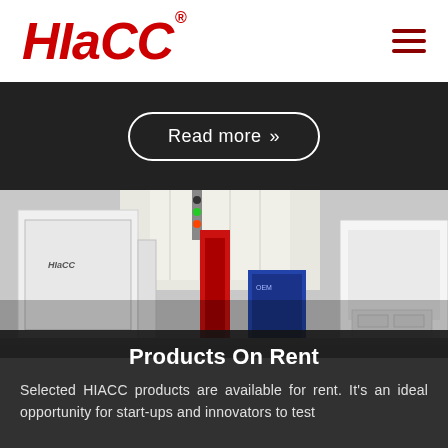[Figure (logo): HIACC logo in red italic bold text with registered trademark symbol]
[Figure (other): Hamburger menu icon with three dark red horizontal lines]
Read more »
[Figure (photo): Industrial CNC machine or manufacturing equipment with HIACC branding, white cabinets, red accent component, traffic light indicator, in a factory setting]
Products On Rent
Selected HIACC products are available for rent. It's an ideal opportunity for start-ups and innovators to test